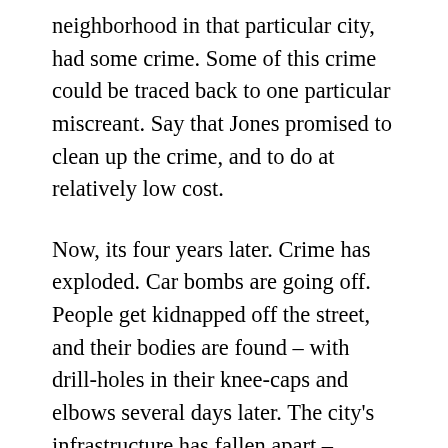neighborhood in that particular city, had some crime. Some of this crime could be traced back to one particular miscreant. Say that Jones promised to clean up the crime, and to do at relatively low cost.
Now, its four years later. Crime has exploded. Car bombs are going off. People get kidnapped off the street, and their bodies are found – with drill-holes in their knee-caps and elbows several days later. The city's infrastructure has fallen apart – there's only electricity for a few hours a day. The locals have split up into gangs that hold full on shootouts, not only with each other but with Jones' police force. And all along, Jones and his people have insisted things are getting better and better. And the